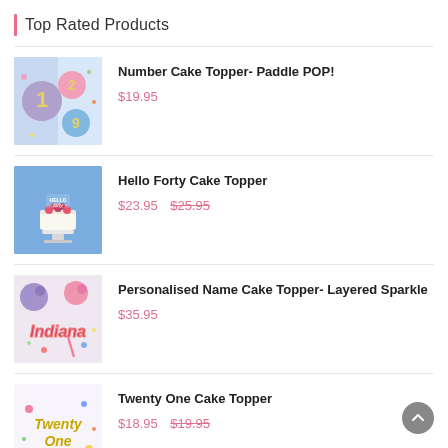Top Rated Products
[Figure (photo): Number cake toppers with paddle pop sticks, showing numbers 1, 2, 9 on colorful circles with confetti background]
Number Cake Topper- Paddle POP!
$19.95
[Figure (photo): White cake with 'Hello Forty' cake topper and pink flowers on blue background]
Hello Forty Cake Topper
$23.95  $25.95
[Figure (photo): Personalised name cake topper reading 'Indiana' in sparkle letters with pink and purple pom poms]
Personalised Name Cake Topper- Layered Sparkle
$35.95
[Figure (photo): Twenty One cake topper in gold script with confetti]
Twenty One Cake Topper
$18.95  $19.95